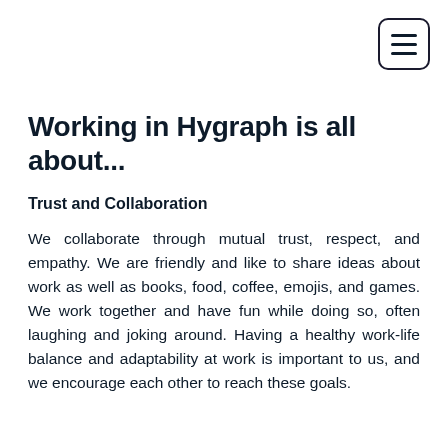[Figure (other): Hamburger menu button icon with three horizontal lines inside a rounded rectangle border]
Working in Hygraph is all about...
Trust and Collaboration
We collaborate through mutual trust, respect, and empathy. We are friendly and like to share ideas about work as well as books, food, coffee, emojis, and games. We work together and have fun while doing so, often laughing and joking around. Having a healthy work-life balance and adaptability at work is important to us, and we encourage each other to reach these goals.